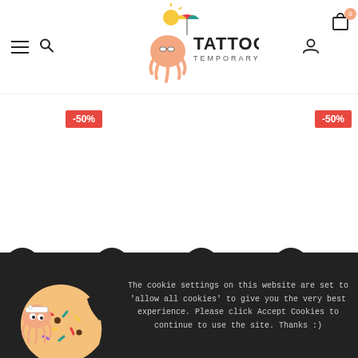[Figure (logo): Tattoonie Temporary Tattoos logo with octopus mascot wearing sunglasses under an umbrella]
-50%
-50%
[Figure (illustration): Tattoonie octopus mascot holding a cookie with colorful sprinkles]
The cookie settings on this website are set to 'allow all cookies' to give you the very best experience. Please click Accept Cookies to continue to use the site. Thanks :)
HORSE RIDE (SET OF ...
€1.00  €2.00  ...  €2.00
PRIVACY POLICY
ACCEPT